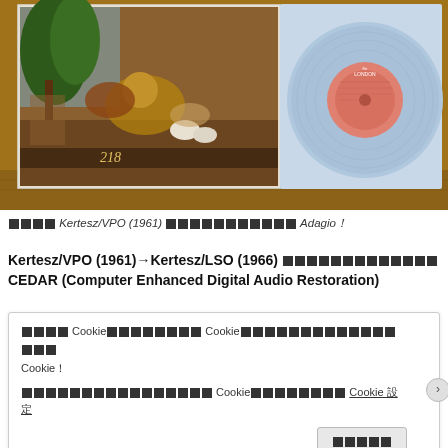[Figure (photo): Photo of a vinyl record album: left side shows a classical painting album cover depicting animals and figures in a pastoral scene, right side shows a light blue vinyl record with a salmon/pink label, placed on a wooden surface.]
■■■■ Kertesz/VPO (1961) ■■■■■■■■■■■ Adagio！
Kertesz/VPO (1961)→Kertesz/LSO (1966) ■■■■■■■■■■■■■ CEDAR (Computer Enhanced Digital Audio Restoration)
■■■■ Cookie■■■■■■■■ Cookie■■■■■■■■■■■■■■■■■ Cookie！ ■■■■■■■■■■■■■■■■ Cookie■■■■■■■■ Cookie 設定
■■■■■